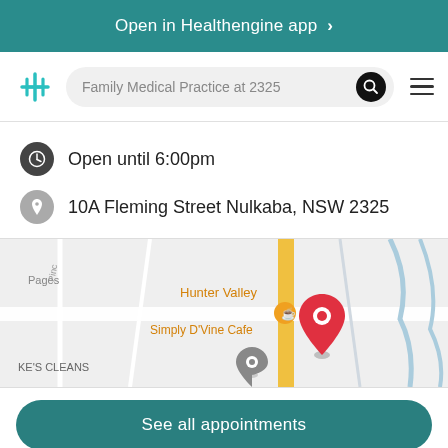Open in Healthengine app >
Family Medical Practice at 2325
Open until 6:00pm
10A Fleming Street Nulkaba, NSW 2325
[Figure (map): Google Maps screenshot showing Nulkaba area with a red location pin marker near Hunter Valley and Simply D'Vine Cafe, with KE'S CLEANS label visible bottom left]
See all appointments